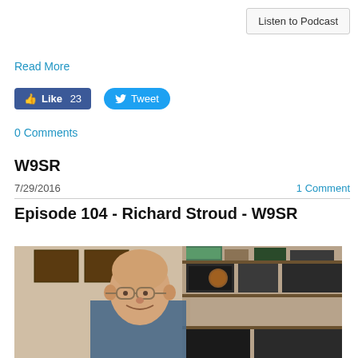Listen to Podcast
Read More
Like 23
Tweet
0 Comments
W9SR
7/29/2016
1 Comment
Episode 104 - Richard Stroud - W9SR
[Figure (photo): An elderly bald man with glasses smiling in front of a ham radio station with multiple radio equipment, shelves, and plaques on the wall behind him.]